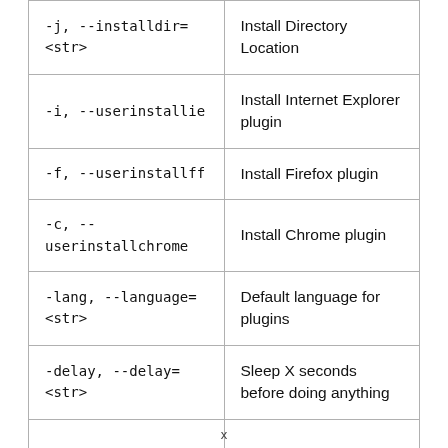| Option | Description |
| --- | --- |
| -j, --installdir=
<str> | Install Directory Location |
| -i, --userinstallie | Install Internet Explorer plugin |
| -f, --userinstallff | Install Firefox plugin |
| -c, --
userinstallchrome | Install Chrome plugin |
| -lang, --language=
<str> | Default language for plugins |
| -delay, --delay=<str> | Sleep X seconds before doing anything |
|  | ... |
x